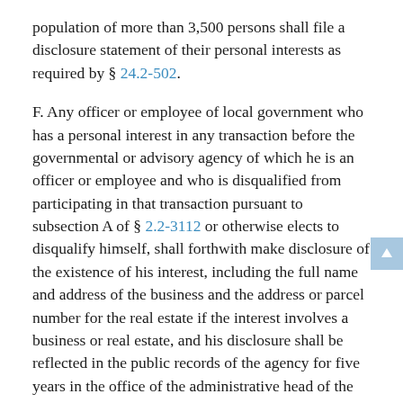population of more than 3,500 persons shall file a disclosure statement of their personal interests as required by § 24.2-502.
F. Any officer or employee of local government who has a personal interest in any transaction before the governmental or advisory agency of which he is an officer or employee and who is disqualified from participating in that transaction pursuant to subsection A of § 2.2-3112 or otherwise elects to disqualify himself, shall forthwith make disclosure of the existence of his interest, including the full name and address of the business and the address or parcel number for the real estate if the interest involves a business or real estate, and his disclosure shall be reflected in the public records of the agency for five years in the office of the administrative head of the officer's or employee's governmental or advisory agency.
G. In addition to any disclosure required by subsections A and B, in any document submitted in connection with